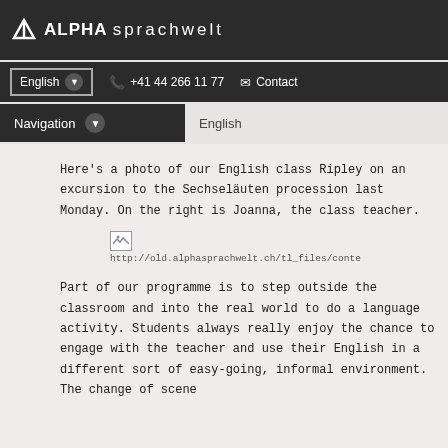ALPHA sprachwelt
English  +41 44 266 11 77  Contact
Navigation  English
Here’s a photo of our English class Ripley on an excursion to the Sechseläuten procession last Monday. On the right is Joanna, the class teacher.
[Figure (photo): Broken image placeholder with URL http://old.alphasprachwelt.ch/tl_files/conte...]
Part of our programme is to step outside the classroom and into the real world to do a language activity. Students always really enjoy the chance to engage with the teacher and use their English in a different sort of easy-going, informal environment. The change of scene